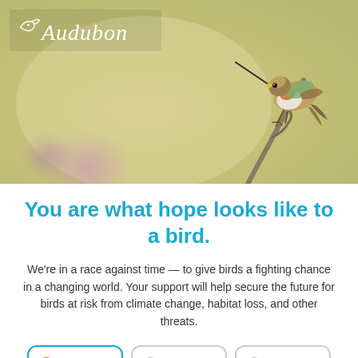[Figure (photo): Hero image of a hummingbird perched on a twig against a soft green-beige bokeh background with purple flowers. Audubon logo with bird icon in white text in the top left corner.]
You are what hope looks like to a bird.
We're in a race against time — to give birds a fighting chance in a changing world. Your support will help secure the future for birds at risk from climate change, habitat loss, and other threats.
(selected radio button) Once Just